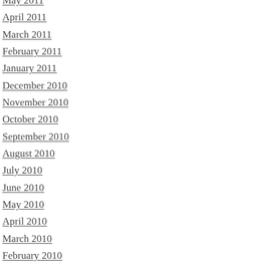May 2011
April 2011
March 2011
February 2011
January 2011
December 2010
November 2010
October 2010
September 2010
August 2010
July 2010
June 2010
May 2010
April 2010
March 2010
February 2010
January 2010